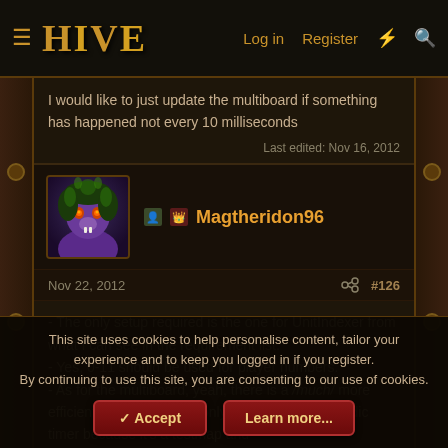HIVE | Log in | Register
I would like to just update the multiboard if something has happened not every 10 milliseconds
Last edited: Nov 16, 2012
Magtheridon96
Nov 22, 2012  #126
- The only setup required is the one for UnitIndexer from what I can see in the requirement list.
- Yes, 0-11 should be used for player numbers.
- As for the multiboard, yeah, there is a /much/ more efficient way to do this. I only used the 0.01 periodic timer because it's a testmap and I don't care about efficiency in that case 😛
This site uses cookies to help personalise content, tailor your experience and to keep you logged in if you register.
By continuing to use this site, you are consenting to our use of cookies.
Accept | Learn more...